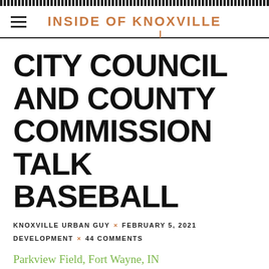INSIDE OF KNOXVILLE
CITY COUNCIL AND COUNTY COMMISSION TALK BASEBALL
KNOXVILLE URBAN GUY × FEBRUARY 5, 2021
DEVELOPMENT × 44 COMMENTS
Parkview Field, Fort Wayne, IN
[Figure (photo): Photograph of Parkview Field in Fort Wayne, IN — a baseball stadium]